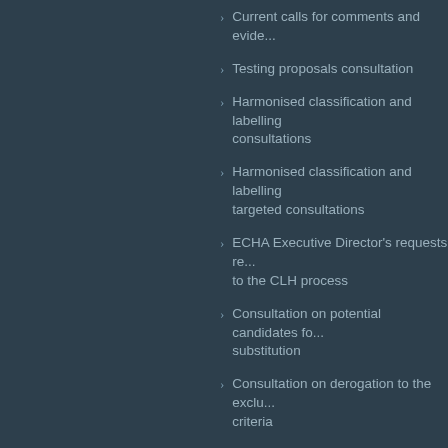Current calls for comments and evidence
Testing proposals consultation
Harmonised classification and labelling consultations
Harmonised classification and labelling targeted consultations
ECHA Executive Director's requests related to the CLH process
Consultation on potential candidates for substitution
Consultation on derogation to the exclusion criteria
Previous consultations on ECHA's Executive Director Requests to the Committees
ECHA's Executive Director Requests to the Committees
Consultation on a draft recommendation